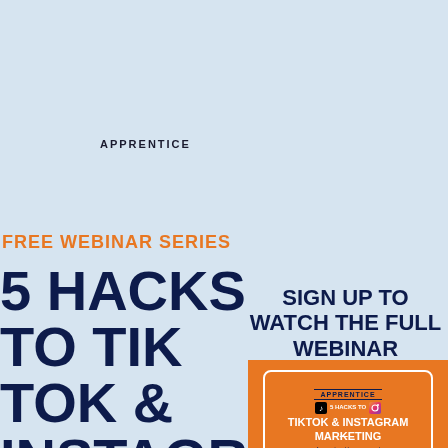APPRENTICE
FREE WEBINAR SERIES
5 HACKS TO TIK TOK & INSTAGRAM MARKETING
SIGN UP TO WATCH THE FULL WEBINAR
[Figure (illustration): Thumbnail image with orange background showing '5 Hacks to TikTok & Instagram Marketing' with Apprentice branding and presenter names including Apprentice, Vengress, and BlitzMedia, May '22]